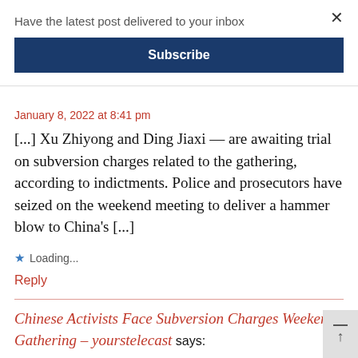Have the latest post delivered to your inbox
Subscribe
January 8, 2022 at 8:41 pm
[...] Xu Zhiyong and Ding Jiaxi — are awaiting trial on subversion charges related to the gathering, according to indictments. Police and prosecutors have seized on the weekend meeting to deliver a hammer blow to China's [...]
Loading...
Reply
Chinese Activists Face Subversion Charges Weekend Gathering – yourstelecast says: